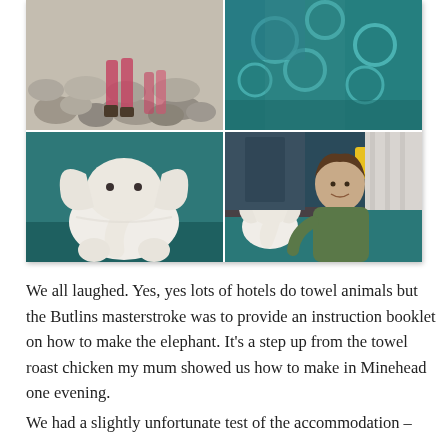[Figure (photo): A 2x2 photo collage showing: top-left - children on rocky outdoor ground, top-right - teal patterned fabric/clothing, bottom-left - a towel folded into an elephant shape on a teal surface, bottom-right - a boy posing next to a towel elephant on a bed in a hotel room]
We all laughed. Yes, yes lots of hotels do towel animals but the Butlins masterstroke was to provide an instruction booklet on how to make the elephant. It’s a step up from the towel roast chicken my mum showed us how to make in Minehead one evening.
We had a slightly unfortunate test of the accommodation –